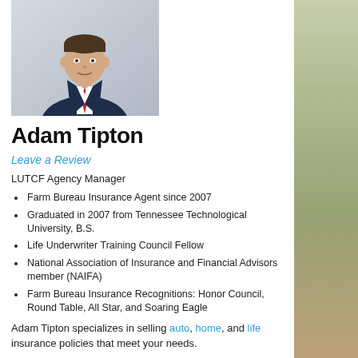[Figure (photo): Professional headshot of Adam Tipton, a man in a dark navy suit with a red striped tie, white shirt, light background]
Adam Tipton
Leave a Review
LUTCF Agency Manager
Farm Bureau Insurance Agent since 2007
Graduated in 2007 from Tennessee Technological University, B.S.
Life Underwriter Training Council Fellow
National Association of Insurance and Financial Advisors member (NAIFA)
Farm Bureau Insurance Recognitions: Honor Council, Round Table, All Star, and Soaring Eagle
Adam Tipton specializes in selling auto, home, and life insurance policies that meet your needs.